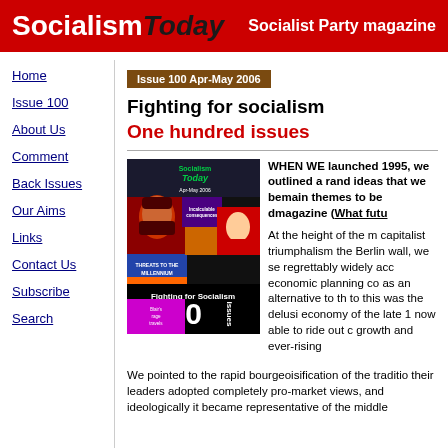Socialism Today — Socialist Party magazine
Home
Issue 100
About Us
Comment
Back Issues
Our Aims
Links
Contact Us
Subscribe
Search
Issue 100 Apr-May 2006
Fighting for socialism
One hundred issues
[Figure (illustration): Collage of Socialism Today magazine covers showing various issues over the years, with the cover of issue 100 prominent showing 'Fighting for Socialism 100 issues']
WHEN WE launched 1995, we outlined a range and ideas that we be main themes to be d magazine (What futu
At the height of the m capitalist triumphalism the Berlin wall, we se regrettably widely acc economic planning co as an alternative to th to this was the delusi economy of the late 1 now able to ride out c growth and ever-rising
We pointed to the rapid bourgeoisification of the traditio their leaders adopted completely pro-market views, and ideologically it became representative of the middle